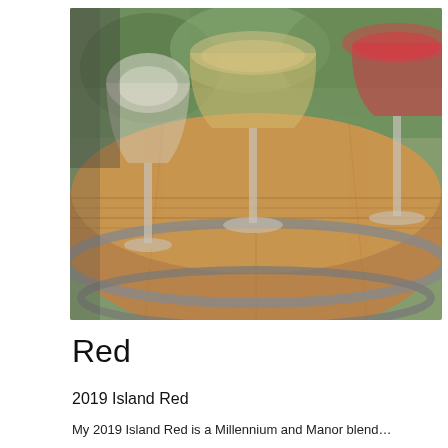[Figure (photo): Three wine glasses (one white, one golden/amber, one red/rosé) sitting on top of a large wooden wine barrel outdoors, with green foliage in the background.]
Red
2019 Island Red
My 2019 Island Red is a Millennium and Manor blend…